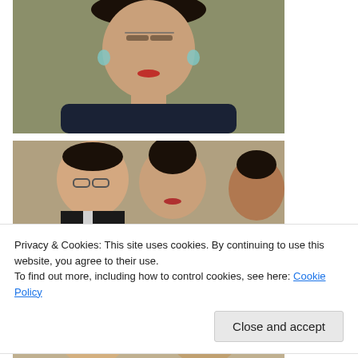[Figure (photo): Close-up portrait of a woman with dark hair, glasses on forehead, wearing a dark sleeveless top, neutral expression, olive/beige background.]
[Figure (photo): Three people sitting together — a man with glasses tilting his head, a woman with an updo hairstyle, and a woman partially visible on the right, in front of a beige wall.]
Privacy & Cookies: This site uses cookies. By continuing to use this website, you agree to their use.
To find out more, including how to control cookies, see here: Cookie Policy
Close and accept
[Figure (photo): Partial view of people, bottom portion cut off.]